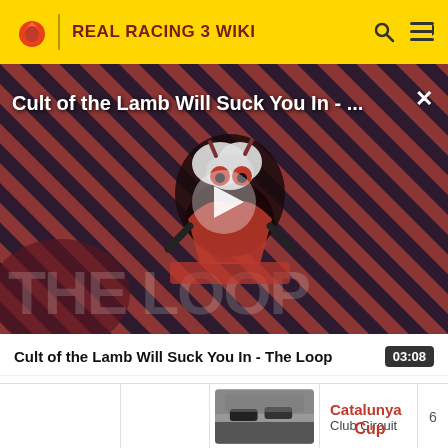REAL RACING 3 WIKI
[Figure (screenshot): Video thumbnail with striped background showing 'Cult of the Lamb Will Suck You In - ...' with a cartoon lamb character, play button overlay, and 'THE LOOP' text.]
Cult of the Lamb Will Suck You In - The Loop
03:08
[Figure (photo): Small thumbnail image of racing cars on Catalunya Club Circuit track]
Catalunya
Club Circuit
Cup